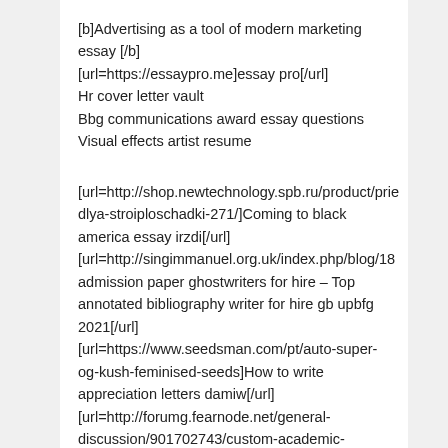[b]Advertising as a tool of modern marketing essay [/b]
[url=https://essaypro.me]essay pro[/url]
Hr cover letter vault
Bbg communications award essay questions
Visual effects artist resume
[url=http://shop.newtechnology.spb.ru/product/prie dlya-stroiploschadki-271/]Coming to black america essay irzdi[/url]
[url=http://singimmanuel.org.uk/index.php/blog/18 admission paper ghostwriters for hire – Top annotated bibliography writer for hire gb upbfg 2021[/url]
[url=https://www.seedsman.com/pt/auto-super-og-kush-feminised-seeds]How to write appreciation letters damiw[/url]
[url=http://forumg.fearnode.net/general-discussion/901702743/custom-academic-